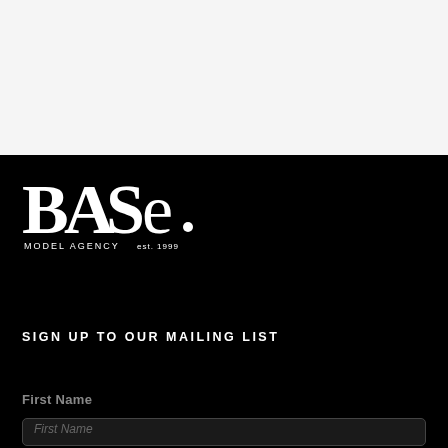[Figure (logo): BASE Model Agency logo — white text on black background, large stylized lettering spelling BASE with 'MODEL AGENCY' and 'est. 1999' below]
SIGN UP TO OUR MAILING LIST
First Name